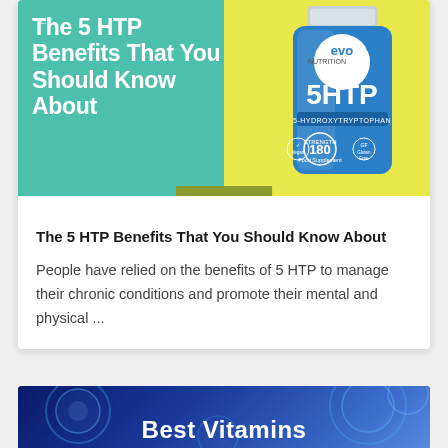[Figure (photo): Hero banner with teal and yellow background showing '5 HTP Benefits That You Should Know About' text in white on left side, and an Evo Nutrition 5HTP supplement bottle (180 capsules) on yellow background on the right side. An olive/green date badge shows '09 MAY'.]
The 5 HTP Benefits That You Should Know About
People have relied on the benefits of 5 HTP to manage their chronic conditions and promote their mental and physical ...
[Figure (photo): Partial view of a second article card showing blue/purple background with glowing jellyfish/cell imagery and white bold text reading 'Best Vitamins' partially visible at the bottom.]